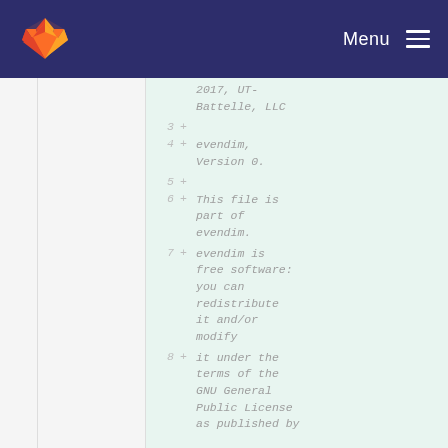Menu
2017, UT-Battelle, LLC
3 +
4 + evendim, Version 0.
5 +
6 + This file is part of evendim.
7 + evendim is free software: you can redistribute it and/or modify
8 + it under the terms of the GNU General Public License as published by